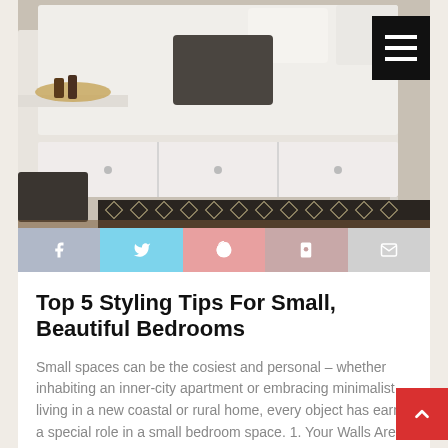[Figure (photo): Bedroom photo showing a white platform bed with storage drawers, dark throw pillow, a round tray with items on a side shelf, and a geometric patterned dark rug on the floor. A hamburger menu button (three white lines on black background) is in the upper right corner.]
[Figure (infographic): Social sharing bar with five buttons: Facebook (grey-blue), Twitter (light blue), Pinterest (salmon/pink), Save (darker salmon), and Email (light grey), each with their respective icons in white.]
Top 5 Styling Tips For Small, Beautiful Bedrooms
Small spaces can be the cosiest and personal – whether inhabiting an inner-city apartment or embracing minimalist living in a new coastal or rural home, every object has earnt a special role in a small bedroom space. 1. Your Walls Are Your Blank Canvases Treat your walls like a